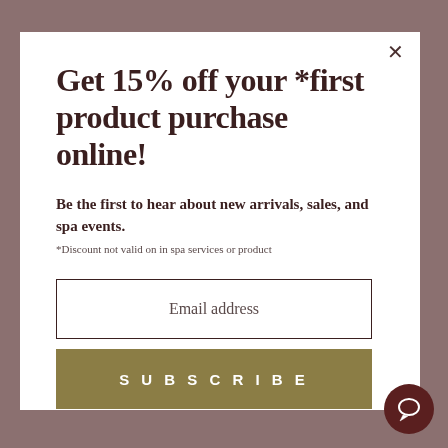Get 15% off your *first product purchase online!
Be the first to hear about new arrivals, sales, and spa events.
*Discount not valid on in spa services or product
Email address
SUBSCRIBE